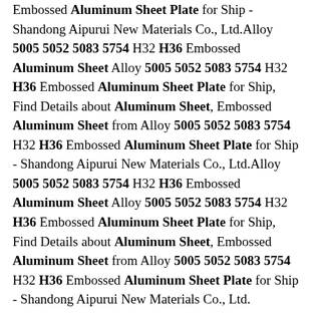Embossed Aluminum Sheet Plate for Ship - Shandong Aipurui New Materials Co., Ltd.Alloy 5005 5052 5083 5754 H32 H36 Embossed Aluminum Sheet Alloy 5005 5052 5083 5754 H32 H36 Embossed Aluminum Sheet Plate for Ship, Find Details about Aluminum Sheet, Embossed Aluminum Sheet from Alloy 5005 5052 5083 5754 H32 H36 Embossed Aluminum Sheet Plate for Ship - Shandong Aipurui New Materials Co., Ltd.Alloy 5005 5052 5083 5754 H32 H36 Embossed Aluminum Sheet Alloy 5005 5052 5083 5754 H32 H36 Embossed Aluminum Sheet Plate for Ship, Find Details about Aluminum Sheet, Embossed Aluminum Sheet from Alloy 5005 5052 5083 5754 H32 H36 Embossed Aluminum Sheet Plate for Ship - Shandong Aipurui New Materials Co., Ltd. Alloy 5005 5052 5083 5754 H32 H36 Embossed Aluminum Sheet China Alloy 5005 5052 5083 5754 H32 H36 Embossed Aluminum Sheet Plate for Ship, Find details about China Aluminum Sheet, Embossed Aluminum Sheet from Alloy 5005 5052 5083 5754 H32 H36 Embossed Aluminum Sheet Plate for Ship - Shandong Aipurui